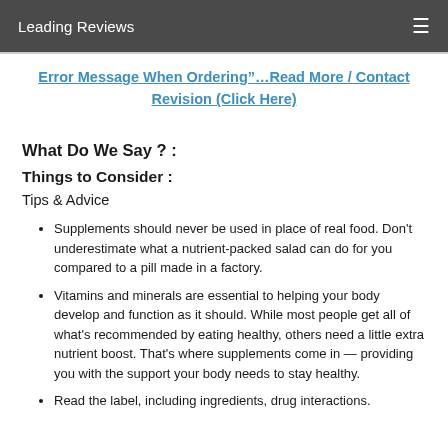Leading Reviews
Error Message When Ordering”…Read More / Contact Revision (Click Here)
What Do We Say ? :
Things to Consider :
Tips & Advice
Supplements should never be used in place of real food. Don't underestimate what a nutrient-packed salad can do for you compared to a pill made in a factory.
Vitamins and minerals are essential to helping your body develop and function as it should. While most people get all of what's recommended by eating healthy, others need a little extra nutrient boost. That's where supplements come in — providing you with the support your body needs to stay healthy.
Read the label, including ingredients, drug interactions.